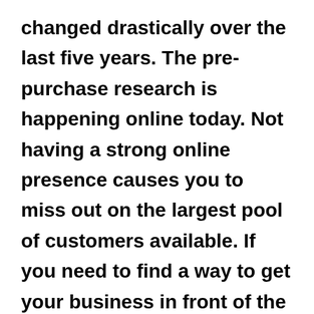changed drastically over the last five years. The pre-purchase research is happening online today. Not having a strong online presence causes you to miss out on the largest pool of customers available. If you need to find a way to get your business in front of the right audience, this is where we come in! S.D.M. will schedule a kick off call with your team to understand your business